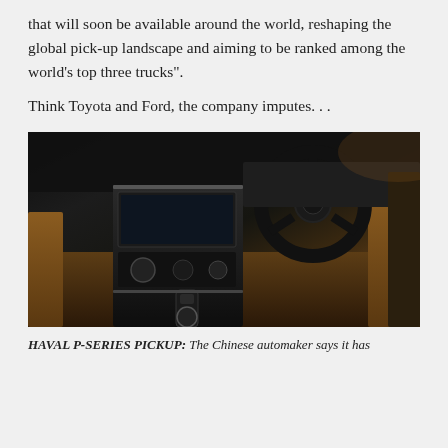that will soon be available around the world, reshaping the global pick-up landscape and aiming to be ranked among the world’s top three trucks”.
Think Toyota and Ford, the company imputes…
[Figure (photo): Interior photo of a Haval P-Series pickup truck showing the steering wheel, center console with touchscreen infotainment, gear shifter, and brown leather seats]
HAVAL P-SERIES PICKUP: The Chinese automaker says it has